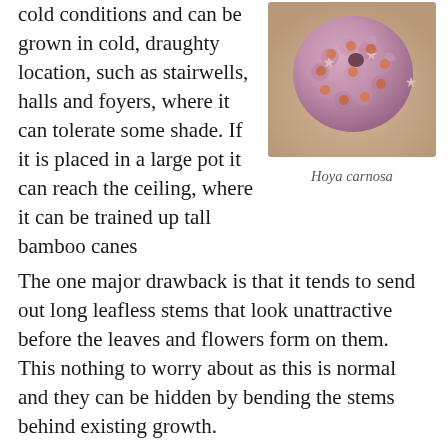cold conditions and can be grown in cold, draughty location, such as stairwells, halls and foyers, where it can tolerate some shade. If it is placed in a large pot it can reach the ceiling, where it can be trained up tall bamboo canes
[Figure (photo): Close-up photograph of Hoya carnosa flower cluster — a spherical ball of small pink/mauve star-shaped flowers with orange-pink centers, against a warm beige background.]
Hoya carnosa
The one major drawback is that it tends to send out long leafless stems that look unattractive before the leaves and flowers form on them. This nothing to worry about as this is normal and they can be hidden by bending the stems behind existing growth.
Water generously in summer, sparingly in